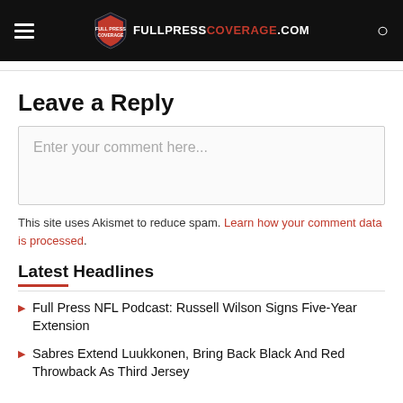FULLPRESS COVERAGE.COM
Leave a Reply
Enter your comment here...
This site uses Akismet to reduce spam. Learn how your comment data is processed.
Latest Headlines
Full Press NFL Podcast: Russell Wilson Signs Five-Year Extension
Sabres Extend Luukkonen, Bring Back Black And Red Throwback As Third Jersey